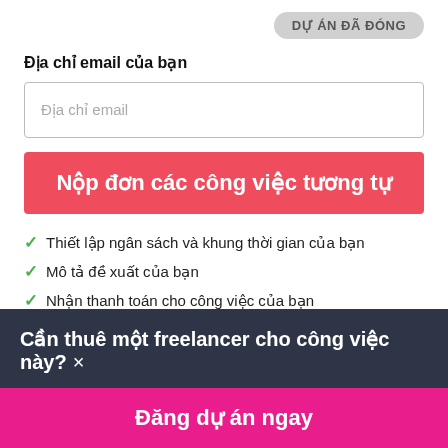DỰ ÁN ĐÃ ĐÓNG
Địa chỉ email của bạn
Địa chỉ email
Nộp đơn các công việc tương tự
Thiết lập ngân sách và khung thời gian của bạn
Mô tả đề xuất của bạn
Nhận thanh toán cho công việc của bạn
Cần thuê một freelancer cho công việc này? ×
Đăng dự án ngay